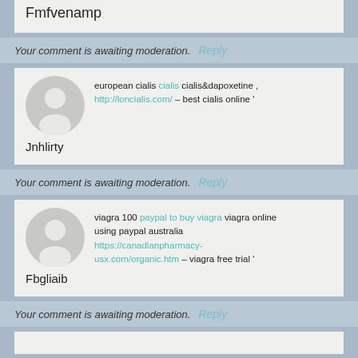Fmfvenamp
Your comment is awaiting moderation.
european cialis cialis cialis&dapoxetine http://loncialis.com/ – best cialis online '
Jnhlirty
Your comment is awaiting moderation.
viagra 100 paypal to buy viagra viagra online using paypal australia https://canadianpharmacy-usx.com/organic.htm – viagra free trial '
Fbgliaib
Your comment is awaiting moderation.